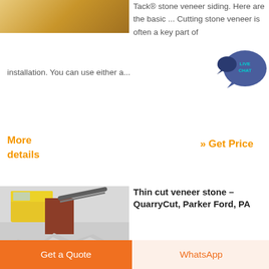[Figure (photo): Partial image of stone veneer siding at top left]
Tack® stone veneer siding. Here are the basic ... Cutting stone veneer is often a key part of installation. You can use either a...
[Figure (illustration): Live Chat speech bubble icon in teal/dark blue]
More details
» Get Price
[Figure (photo): Photo of quarry stone cutting machinery with gravel piles]
Thin cut veneer stone – QuarryCut, Parker Ford, PA
QuarryCut is a leading producer of natural thin building stone and corners for interior and exterior residential and commercial use.
Get a Quote
WhatsApp